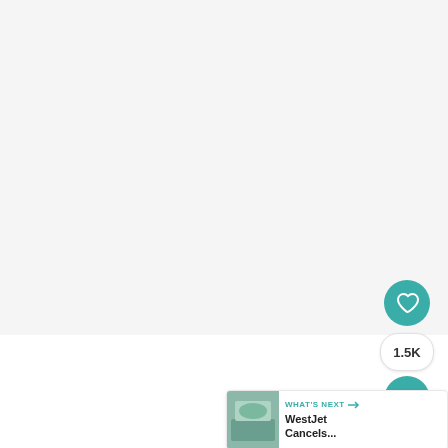[Figure (other): Large blank/light gray content area, presumably showing a cropped article image or embedded content area from the TravelPulse website screenshot.]
Source: TravelPulse
[Figure (other): UI overlay with heart (favorite) button in teal circle, 1.5K count badge, share button in teal circle, and a 'What's Next' card showing a WestJet Cancels... article with thumbnail image.]